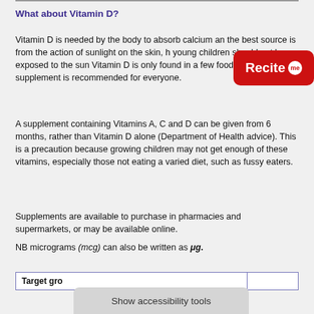What about Vitamin D?
Vitamin D is needed by the body to absorb calcium an the best source is from the action of sunlight on the skin, h... young children should not be exposed to the sun... Vitamin D is only found in a few foods so a supplement is recommended for everyone.
A supplement containing Vitamins A, C and D can be given from 6 months, rather than Vitamin D alone (Department of Health advice). This is a precaution because growing children may not get enough of these vitamins, especially those not eating a varied diet, such as fussy eaters.
Supplements are available to purchase in pharmacies and supermarkets, or may be available online.
NB micrograms (mcg) can also be written as μg.
| Target gro... |
| --- |